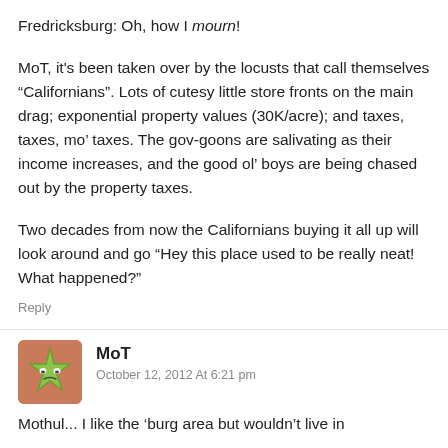Fredricksburg: Oh, how I mourn!
MoT, it's been taken over by the locusts that call themselves “Californians”. Lots of cutesy little store fronts on the main drag; exponential property values (30K/acre); and taxes, taxes, mo' taxes. The gov-goons are salivating as their income increases, and the good ol' boys are being chased out by the property taxes.
Two decades from now the Californians buying it all up will look around and go “Hey this place used to be really neat! What happened?”
Reply
[Figure (illustration): Avatar image of a green star-shaped character with a face on a brown/pink background]
MoT
October 12, 2012 At 6:21 pm
Mothul... I like the 'burg area but wouldn't live in